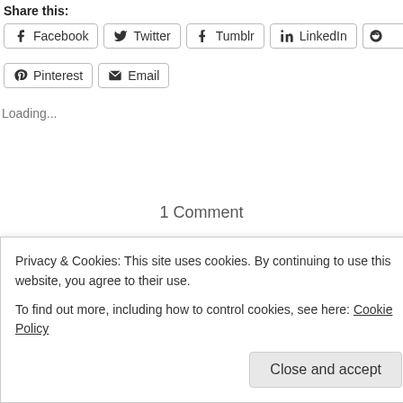Share this:
Facebook  Twitter  Tumblr  LinkedIn  [Reddit partial]  Pinterest  Email
Loading...
1 Comment
November 10, 2011
Harvard Students Will Get an Economics Re... [fe...]
Privacy & Cookies: This site uses cookies. By continuing to use this website, you agree to their use.
To find out more, including how to control cookies, see here: Cookie Policy
Close and accept